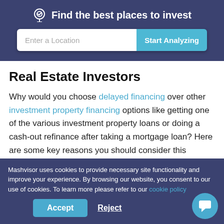Find the best places to invest
[Figure (screenshot): Search bar with 'Enter a Location' input and 'Start Analyzing' button]
Real Estate Investors
Why would you choose delayed financing over other investment property financing options like getting one of the various investment property loans or doing a cash-out refinance after taking a mortgage loan? Here are some key reasons you should consider this financing option:
Mashvisor uses cookies to provide necessary site functionality and improve your experience. By browsing our website, you consent to our use of cookies. To learn more please refer to our cookie policy